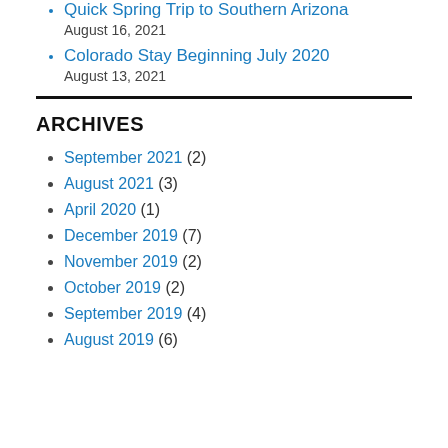Quick Spring Trip to Southern Arizona
August 16, 2021
Colorado Stay Beginning July 2020
August 13, 2021
ARCHIVES
September 2021 (2)
August 2021 (3)
April 2020 (1)
December 2019 (7)
November 2019 (2)
October 2019 (2)
September 2019 (4)
August 2019 (6)